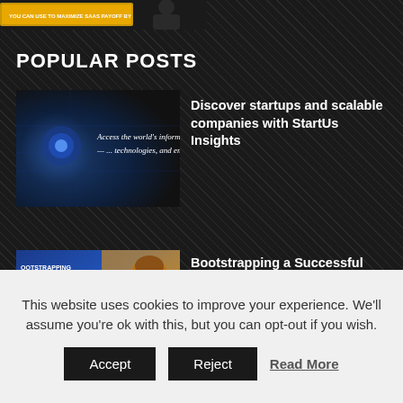[Figure (screenshot): Top strip with book/resource thumbnail image — partial view of a banner with yellow background and person silhouette]
POPULAR POSTS
[Figure (screenshot): Thumbnail for StartUs Insights post — blue glowing tech background with text: Access the world's information technologies, and emerg...]
Discover startups and scalable companies with StartUs Insights
[Figure (screenshot): Thumbnail for Bootstrapping SAAS Startup post — blue and orange background with Saravana Kumar, play button overlay]
Bootstrapping a Successful SAAS Startup – Saravana Kumar, Founder and CEO of Kovai.co
[Figure (screenshot): Thumbnail for Cloud-based Digital Architecture post — purple/violet background, partial view]
A Cloud-based Digital Architecture for
This website uses cookies to improve your experience. We'll assume you're ok with this, but you can opt-out if you wish.